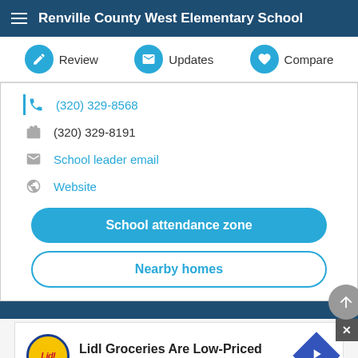Renville County West Elementary School
Review | Updates | Compare
(320) 329-8568
(320) 329-8191
School leader email
Website
School attendance zone
Nearby homes
[Figure (screenshot): Advertisement for Lidl Groceries with Lidl logo, text 'Lidl Groceries Are Low-Priced', Lidl brand name, and a blue diamond arrow icon. Below are play and close icons.]
ADVERTISEMENT